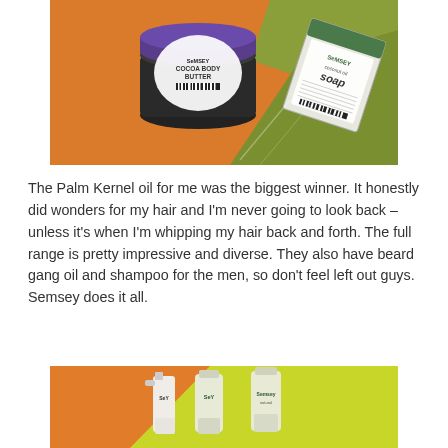[Figure (photo): Photo of Semsey natural products: a dark jar labeled 'Cocoa Body Butter' and a box labeled 'Coconut Oil Soap', on an orange and green background.]
The Palm Kernel oil for me was the biggest winner. It honestly did wonders for my hair and I'm never going to look back – unless it's when I'm whipping my hair back and forth. The full range is pretty impressive and diverse. They also have beard gang oil and shampoo for the men, so don't feel left out guys. Semsey does it all.
[Figure (photo): Photo of three Semsey product bottles on a green and orange background.]